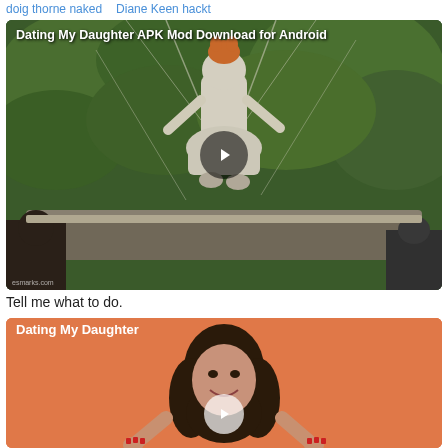doig thorne naked   Diane keen hackt
[Figure (screenshot): Video thumbnail showing a puppet/costume figure suspended on wires against green foliage background, with people visible at the bottom, play button overlay, title 'Dating My Daughter APK Mod Download for Android']
Tell me what to do.
[Figure (screenshot): Video thumbnail with orange/salmon background showing a smiling dark-haired woman with red nails, title 'Dating My Daughter', play button overlay]